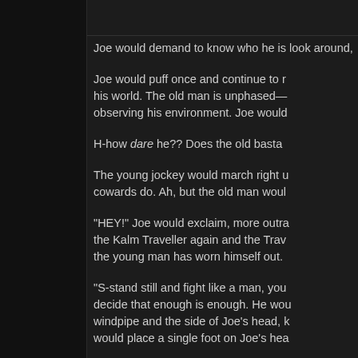Joe would demand to know who he is look around, shrug, and resume smiling
Joe would puff once and continue to ra his world. The old man is unphased— observing his environment. Joe would
H-how dare he?? Does the old bastar
The young jockey would march right u cowards do. Ah, but the old man woul
"HEY!" Joe would exclaim, more outra the Kalm Traveller again and the Trav the young man has worn himself out.
"S-stand still and fight like a man, you decide that enough is enough. He wou windpipe and the side of Joe's head, k would place a single foot on Joe's hea
Joe would, between gasps, that dema
"Admit defeat, and I'll let you free." he
"Never!" Joe would cry and the Travel
"Ow! OW! Okay, you bastard! You win